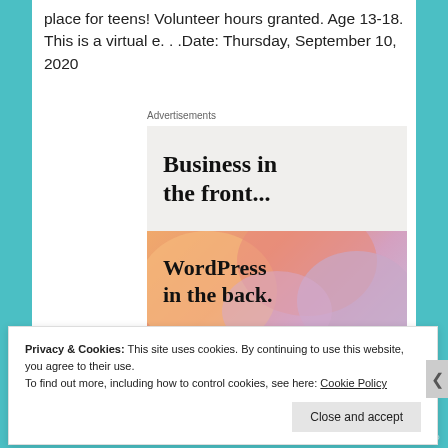place for teens! Volunteer hours granted. Age 13-18. This is a virtual e. . .Date: Thursday, September 10, 2020
[Figure (screenshot): Advertisement box with two sections: top section on light grey background reads 'Business in the front...' in bold serif font; bottom section has a colorful orange-pink-purple gradient background and reads 'WordPress in the back.' in bold serif font, with partial WordPress logo visible at the bottom.]
Privacy & Cookies: This site uses cookies. By continuing to use this website, you agree to their use. To find out more, including how to control cookies, see here: Cookie Policy
Close and accept